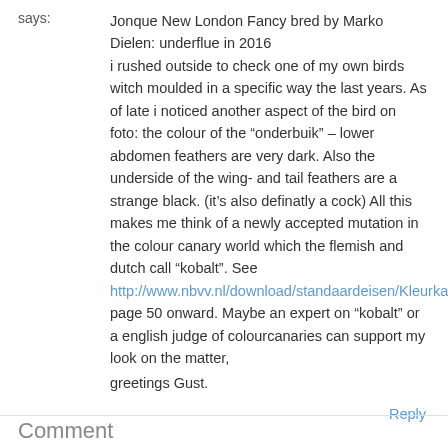says:
Jonque New London Fancy bred by Marko Dielen: underflue in 2016
i rushed outside to check one of my own birds witch moulded in a specific way the last years. As of late i noticed another aspect of the bird on foto: the colour of the “onderbuik” – lower abdomen feathers are very dark. Also the underside of the wing- and tail feathers are a strange black. (it’s also definatly a cock) All this makes me think of a newly accepted mutation in the colour canary world which the flemish and dutch call “kobalt”. See http://www.nbvv.nl/download/standaardeisen/Kleurkanaries_2016.pdf page 50 onward. Maybe an expert on “kobalt” or a english judge of colourcanaries can support my look on the matter,
greetings Gust.
Reply
Comment